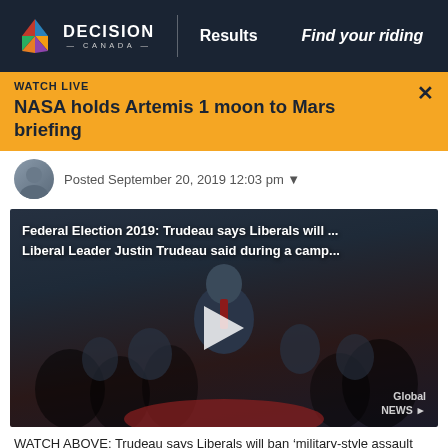DECISION CANADA | Results | Find your riding
NASA holds Artemis 1 moon to Mars briefing
Posted September 20, 2019 12:03 pm
[Figure (screenshot): Video thumbnail showing Justin Trudeau at a campaign rally with text: Federal Election 2019: Trudeau says Liberals will ... Liberal Leader Justin Trudeau said during a camp... Global News branding visible bottom right.]
WATCH ABOVE: Trudeau says Liberals will ban ‘military-style assault rifles,’ start buyback program – Sep 20, 2019